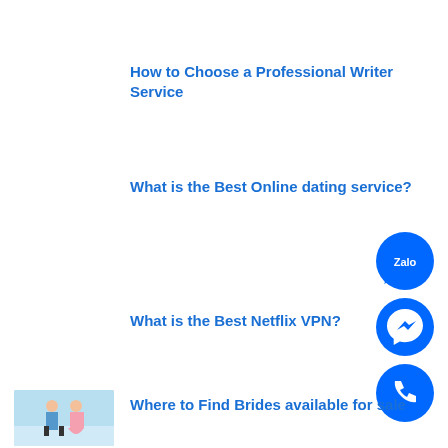How to Choose a Professional Writer Service
What is the Best Online dating service?
[Figure (logo): Zalo messaging app blue circular icon button]
What is the Best Netflix VPN?
[Figure (logo): Facebook Messenger blue circular icon button]
[Figure (logo): Phone call blue circular icon button]
[Figure (photo): Small thumbnail image of an anime-style couple, a boy and girl in casual clothes against a light blue background]
Where to Find Brides available for sale